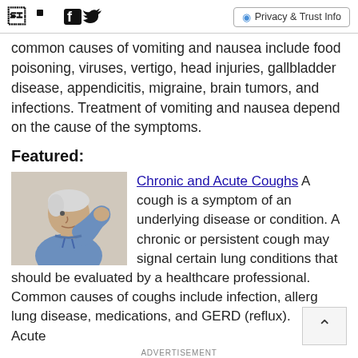Facebook Twitter | Privacy & Trust Info
common causes of vomiting and nausea include food poisoning, viruses, vertigo, head injuries, gallbladder disease, appendicitis, migraine, brain tumors, and infections. Treatment of vomiting and nausea depend on the cause of the symptoms.
Featured:
[Figure (photo): Elderly man coughing into his fist, side profile view]
Chronic and Acute Coughs A cough is a symptom of an underlying disease or condition. A chronic or persistent cough may signal certain lung conditions that should be evaluated by a healthcare professional. Common causes of coughs include infection, allerg... lung disease, medications, and GERD (reflux). Acute
ADVERTISEMENT
Search for
1. BATHROOM MEDICINE CABINET